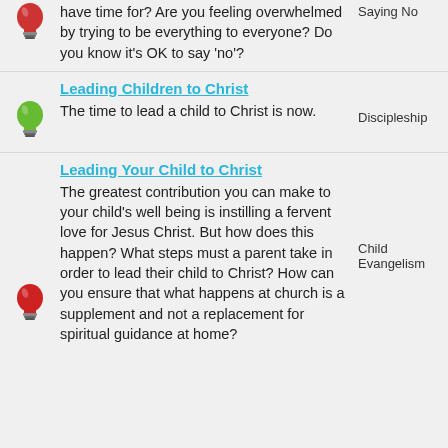have time for? Are you feeling overwhelmed by trying to be everything to everyone? Do you know it's OK to say 'no'?
Saying No
Leading Children to Christ
The time to lead a child to Christ is now.
Discipleship
Leading Your Child to Christ
The greatest contribution you can make to your child's well being is instilling a fervent love for Jesus Christ. But how does this happen? What steps must a parent take in order to lead their child to Christ? How can you ensure that what happens at church is a supplement and not a replacement for spiritual guidance at home?
Child Evangelism